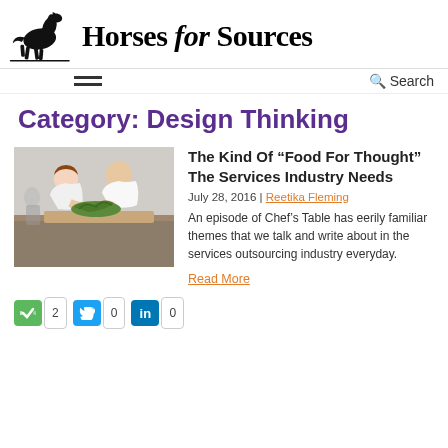[Figure (logo): Horses for Sources website logo with horse silhouette and bold text]
Horses for Sources
Category: Design Thinking
[Figure (photo): Two chefs in white uniforms working with plants/food on a table in a kitchen]
The Kind Of “Food For Thought” The Services Industry Needs
July 28, 2016 | Reetika Fleming
An episode of Chef’s Table has eerily familiar themes that we talk and write about in the services outsourcing industry everyday.
Read More